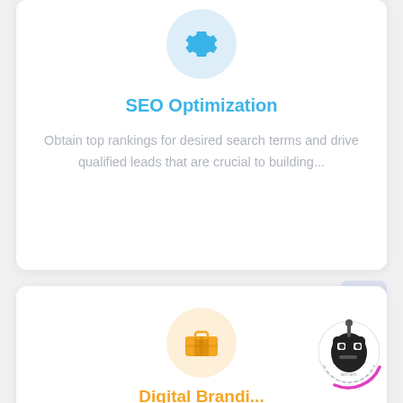[Figure (illustration): Blue gear icon inside a light blue circle at the top of the SEO Optimization card]
SEO Optimization
Obtain top rankings for desired search terms and drive qualified leads that are crucial to building...
[Figure (illustration): Orange briefcase/luggage icon inside a light orange circle on the second card]
Digital Brandi...
[Figure (illustration): Robot/mascot logo badge with pink arc spinner in bottom right corner]